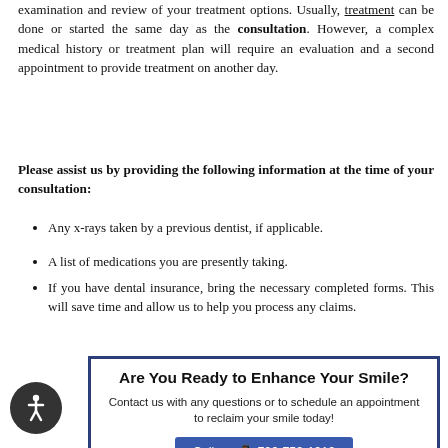examination and review of your treatment options. Usually, treatment can be done or started the same day as the consultation. However, a complex medical history or treatment plan will require an evaluation and a second appointment to provide treatment on another day.
Please assist us by providing the following information at the time of your consultation:
Any x-rays taken by a previous dentist, if applicable.
A list of medications you are presently taking.
If you have dental insurance, bring the necessary completed forms. This will save time and allow us to help you process any claims.
Are You Ready to Enhance Your Smile?
Contact us with any questions or to schedule an appointment to reclaim your smile today!
Call us: 706-752-1910